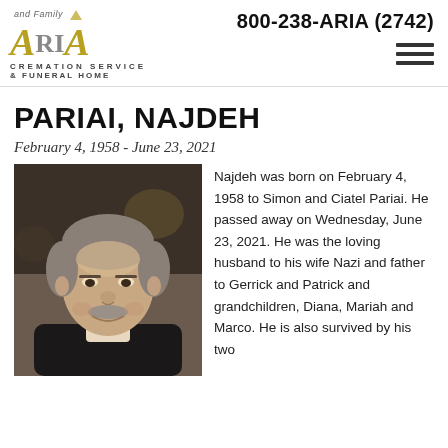and Family — ARIA CREMATION SERVICE & FUNERAL HOME — 800-238-ARIA (2742)
PARIAI, NAJDEH
February 4, 1958 - June 23, 2021
[Figure (photo): Portrait photograph of Najdeh Pariai, a middle-aged man with gray and dark hair and a mustache, smiling, wearing a dark jacket.]
Najdeh was born on February 4, 1958 to Simon and Ciatel Pariai. He passed away on Wednesday, June 23, 2021. He was the loving husband to his wife Nazi and father to Gerrick and Patrick and grandchildren, Diana, Mariah and Marco.  He is also survived by his two